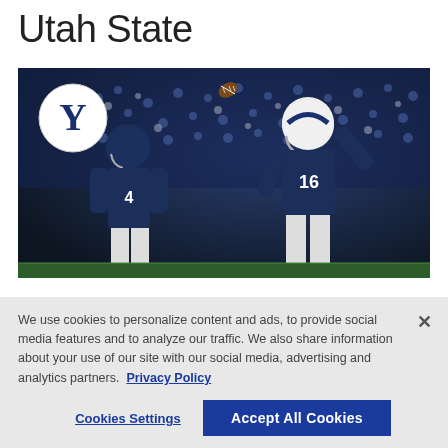Utah State
[Figure (photo): BYU football player wearing jersey #16 throwing a pass during a night game, with another BYU player in the foreground and a crowd of fans in the background. BYU 'Y' logo visible.]
We use cookies to personalize content and ads, to provide social media features and to analyze our traffic. We also share information about your use of our site with our social media, advertising and analytics partners. Privacy Policy
Cookies Settings    Accept All Cookies